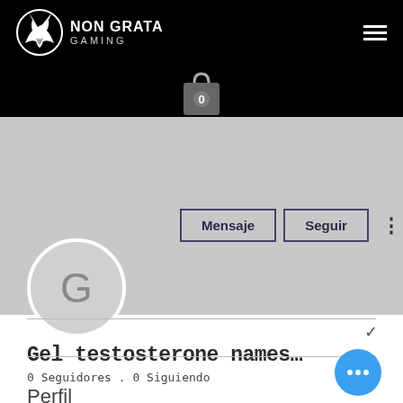[Figure (screenshot): Website navigation bar for Non Grata Gaming with wolf logo, brand name, hamburger menu, and shopping cart icon showing 0 items]
[Figure (screenshot): User profile page on Non Grata Gaming showing grey avatar with letter G, Mensaje and Seguir action buttons, username Gel testosterone names..., 0 Seguidores 0 Siguiendo, and Perfil section with floating blue chat button]